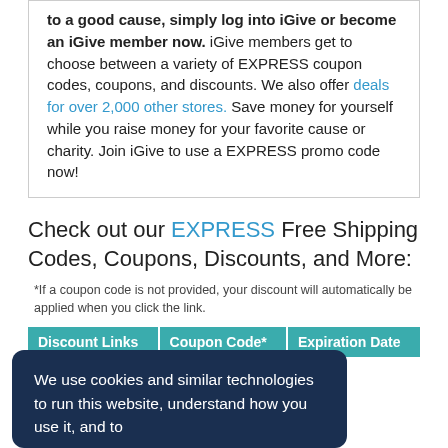to a good cause, simply log into iGive or become an iGive member now. iGive members get to choose between a variety of EXPRESS coupon codes, coupons, and discounts. We also offer deals for over 2,000 other stores. Save money for yourself while you raise money for your favorite cause or charity. Join iGive to use a EXPRESS promo code now!
Check out our EXPRESS Free Shipping Codes, Coupons, Discounts, and More:
*If a coupon code is not provided, your discount will automatically be applied when you click the link.
| Discount Links | Coupon Code* | Expiration Date |
| --- | --- | --- |
We use cookies and similar technologies to run this website, understand how you use it, and to